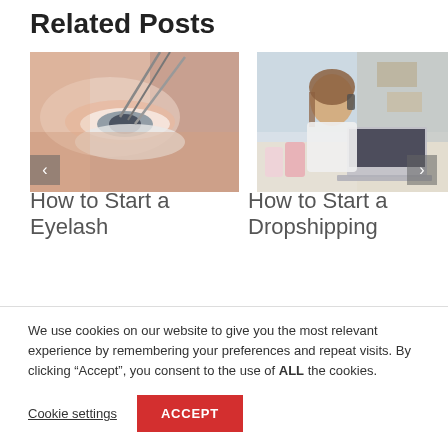Related Posts
[Figure (photo): Close-up photo of an eyelash extension procedure being performed on a woman's eye]
[Figure (photo): Photo of a smiling woman talking on the phone while working on a laptop, with shipping boxes in the background]
How to Start a Eyelash
How to Start a Dropshipping
We use cookies on our website to give you the most relevant experience by remembering your preferences and repeat visits. By clicking “Accept”, you consent to the use of ALL the cookies.
Cookie settings
ACCEPT